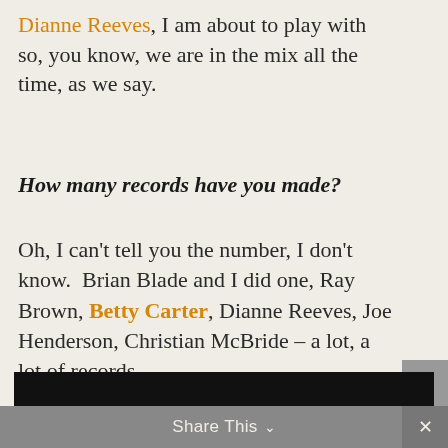Dianne Reeves, I am about to play with so, you know, we are in the mix all the time, as we say.
How many records have you made?
Oh, I can't tell you the number, I don't know. Brian Blade and I did one, Ray Brown, Betty Carter, Dianne Reeves, Joe Henderson, Christian McBride – a lot, a lot of records.
[Figure (screenshot): Dark video player area at bottom of page]
Share This ∨  ×